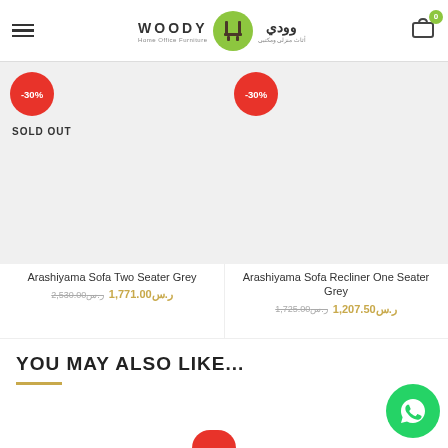Woody Home Office Furniture — Logo header with navigation
[Figure (other): Product card: Arashiyama Sofa Two Seater Grey with -30% discount badge and SOLD OUT label]
[Figure (other): Product card: Arashiyama Sofa Recliner One Seater Grey with -30% discount badge]
Arashiyama Sofa Two Seater Grey
ر.س2,530.00  ر.س1,771.00
Arashiyama Sofa Recliner One Seater Grey
ر.س1,725.00  ر.س1,207.50
YOU MAY ALSO LIKE...